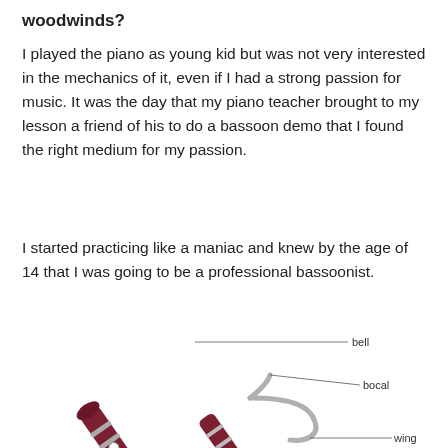woodwinds?
I played the piano as young kid but was not very interested in the mechanics of it, even if I had a strong passion for music. It was the day that my piano teacher brought to my lesson a friend of his to do a bassoon demo that I found the right medium for my passion.
I started practicing like a maniac and knew by the age of 14 that I was going to be a professional bassoonist.
[Figure (illustration): Diagram of a bassoon instrument with labeled parts: bell, bocal, and wing. The bassoon is shown diagonally with annotation lines pointing to each labeled part.]